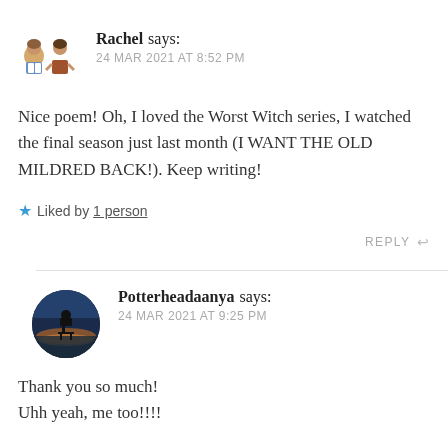Rachel says:
24 MAR 2021 AT 8:52 PM
Nice poem! Oh, I loved the Worst Witch series, I watched the final season just last month (I WANT THE OLD MILDRED BACK!). Keep writing!
★ Liked by 1 person
REPLY ↩
Potterheadaanya says:
24 MAR 2021 AT 9:25 PM
Thank you so much!
Uhh yeah, me too!!!!